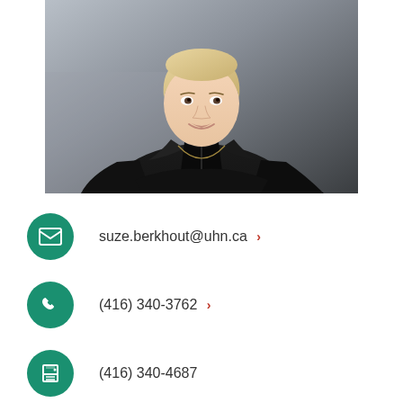[Figure (photo): Professional headshot of a woman with short blonde hair wearing a black leather jacket, arms crossed, smiling, against a grey background]
suze.berkhout@uhn.ca
(416) 340-3762
(416) 340-4687